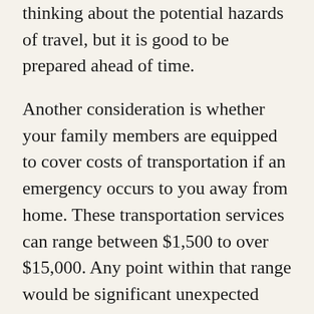thinking about the potential hazards of travel, but it is good to be prepared ahead of time.
Another consideration is whether your family members are equipped to cover costs of transportation if an emergency occurs to you away from home. These transportation services can range between $1,500 to over $15,000. Any point within that range would be significant unexpected expense to most of us. If a loved one dies in another country, the difficulty of arranging transportation can be very